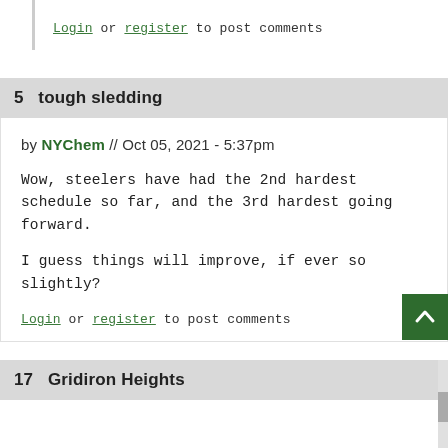Login or register to post comments
5  tough sledding
by NYChem // Oct 05, 2021 - 5:37pm
Wow, steelers have had the 2nd hardest schedule so far, and the 3rd hardest going forward.

I guess things will improve, if ever so slightly?
Login or register to post comments
17  Gridiron Heights